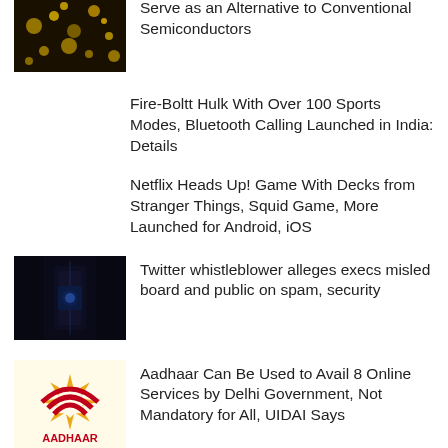[Figure (photo): Gold/sparkle particles image]
Serve as an Alternative to Conventional Semiconductors
Fire-Boltt Hulk With Over 100 Sports Modes, Bluetooth Calling Launched in India: Details
Netflix Heads Up! Game With Decks from Stranger Things, Squid Game, More Launched for Android, iOS
[Figure (photo): Twitter/dark corridor image]
Twitter whistleblower alleges execs misled board and public on spam, security
[Figure (photo): Aadhaar logo image]
Aadhaar Can Be Used to Avail 8 Online Services by Delhi Government, Not Mandatory for All, UIDAI Says
[Figure (photo): YouTube Shorts phone image]
YouTube Shorts Coming to Smart TVs, YouTube TV to Get Mosaic Mode: Report